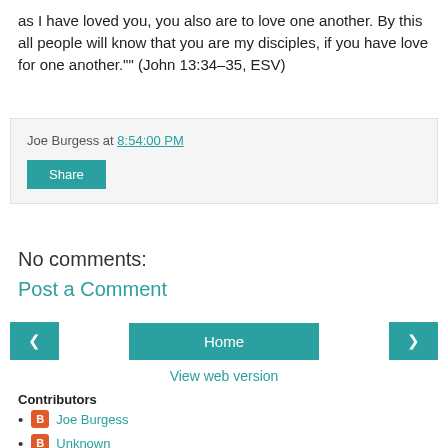as I have loved you, you also are to love one another. By this all people will know that you are my disciples, if you have love for one another."" (John 13:34–35, ESV)
Joe Burgess at 8:54:00 PM
Share
No comments:
Post a Comment
Home
View web version
Contributors
Joe Burgess
Unknown